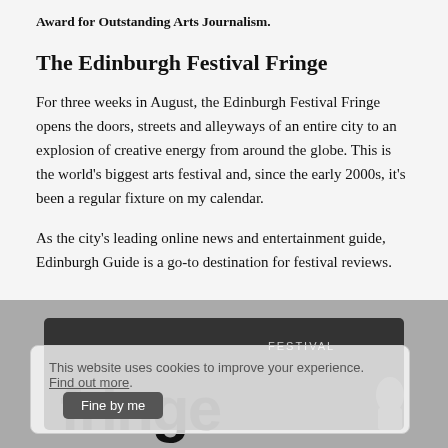Award for Outstanding Arts Journalism.
The Edinburgh Festival Fringe
For three weeks in August, the Edinburgh Festival Fringe opens the doors, streets and alleyways of an entire city to an explosion of creative energy from around the globe. This is the world's biggest arts festival and, since the early 2000s, it's been a regular fixture on my calendar.
As the city's leading online news and entertainment guide, Edinburgh Guide is a go-to destination for festival reviews.
[Figure (screenshot): A dark banner image showing 'fringe' text in large letters with 'FESTIVAL' label visible, overlaid by a cookie consent popup reading 'This website uses cookies to improve your experience. Find out more.' with a 'Fine by me' button]